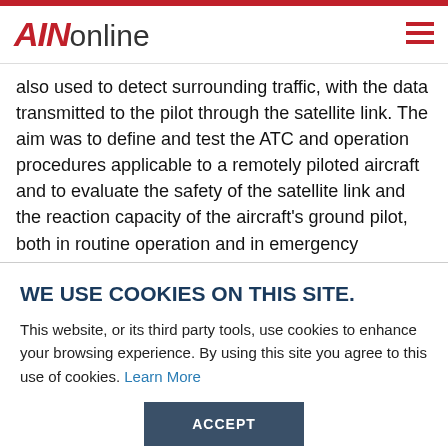AINonline
also used to detect surrounding traffic, with the data transmitted to the pilot through the satellite link. The aim was to define and test the ATC and operation procedures applicable to a remotely piloted aircraft and to evaluate the safety of the satellite link and the reaction capacity of the aircraft's ground pilot, both in routine operation and in emergency situations.
WE USE COOKIES ON THIS SITE.
This website, or its third party tools, use cookies to enhance your browsing experience. By using this site you agree to this use of cookies. Learn More
ACCEPT